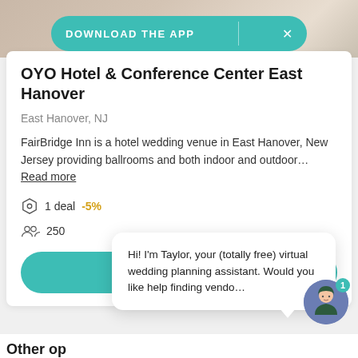[Figure (screenshot): Top photo banner showing wedding attire/fabric in muted beige tones]
DOWNLOAD THE APP   ×
OYO Hotel & Conference Center East Hanover
East Hanover, NJ
FairBridge Inn is a hotel wedding venue in East Hanover, New Jersey providing ballrooms and both indoor and outdoor… Read more
1 deal  -5%
250
Request pricing
Hi! I'm Taylor, your (totally free) virtual wedding planning assistant. Would you like help finding vendo…
Other op